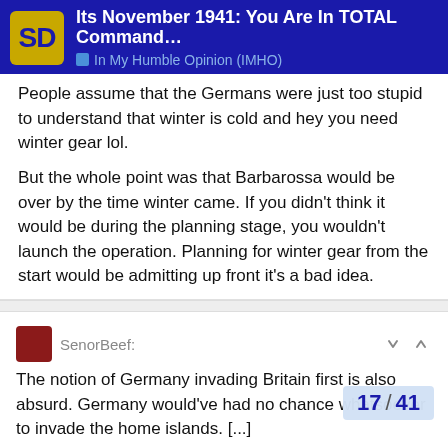Its November 1941: You Are In TOTAL Command... | In My Humble Opinion (IMHO)
People assume that the Germans were just too stupid to understand that winter is cold and hey you need winter gear lol.

But the whole point was that Barbarossa would be over by the time winter came. If you didn't think it would be during the planning stage, you wouldn't launch the operation. Planning for winter gear from the start would be admitting up front it's a bad idea.
SenorBeef:
The notion of Germany invading Britain first is also absurd. Germany would've had no chance whatsoever to invade the home islands. [...]

So Germany had the right idea - subdue Russia by summer 1942, continue the wildly successful u-boat campaigns, and Britain probably agrees to some sort of point.
17 / 41